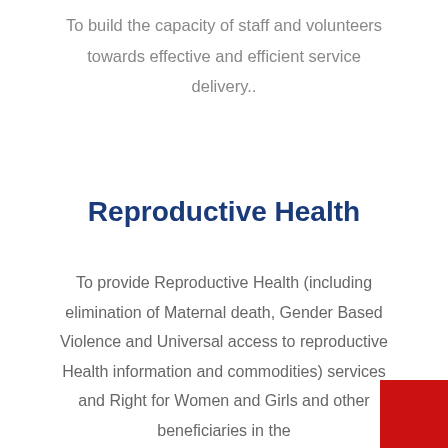To build the capacity of staff and volunteers towards effective and efficient service delivery..
Reproductive Health
To provide Reproductive Health (including elimination of Maternal death, Gender Based Violence and Universal access to reproductive Health information and commodities) services and Right for Women and Girls and other beneficiaries in the